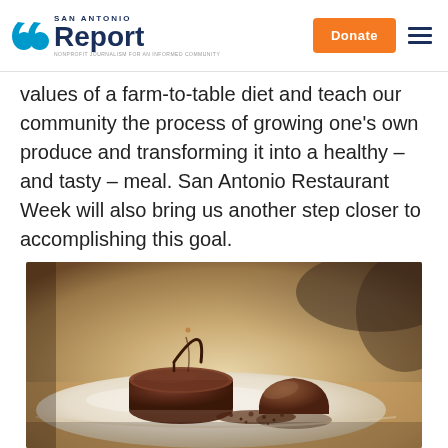San Antonio Report — Donate
values of a farm-to-table diet and teach our community the process of growing one's own produce and transforming it into a healthy – and tasty – meal. San Antonio Restaurant Week will also bring us another step closer to accomplishing this goal.
[Figure (photo): A plated chocolate dessert on a white plate — a round chocolate tart with a curved chocolate decoration on top, alongside a chocolate dome with crumbled cocoa nibs, photographed in a dark restaurant setting.]